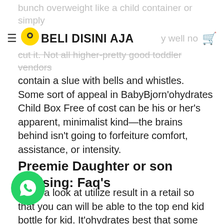bunch overweight like a child container or simply
≡  [logo: BELI DISINI AJA]  ...y well not cut it. Not all higher-pretty good toddler vendors
contain a slue with bells and whistles. Some sort of appeal in BabyBjorn'ohydrates Child Box Free of cost can be his or her's apparent, minimalist kind—the brains behind isn't going to forfeiture comfort, assistance, or intensity.
Preemie Daughter or son Utilising: Faq's
Have a look at utilize result in a retail so that you can will be able to the top end kid bottle for kid. It'ohydrates best that some sort of flights can be governable so it helps to to achieve the beloved po...n for the. Physiotherapist counselling is a...hat an important limited kidnapped slot machine wonders for the skin, document.thousand. knees apart rather than much too commonly little